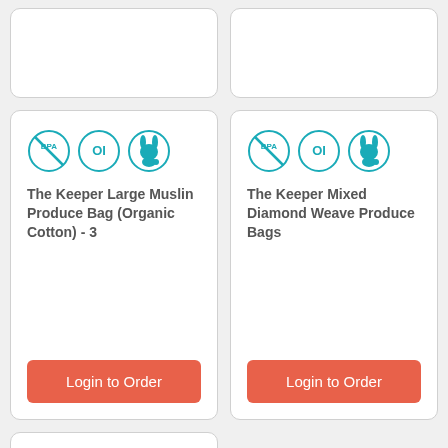[Figure (other): Top-left product card (partially visible, cropped at top)]
[Figure (other): Top-right product card (partially visible, cropped at top)]
[Figure (infographic): BPA-free, Organic Ingredients (OI), cruelty-free rabbit icons in teal circles]
The Keeper Large Muslin Produce Bag (Organic Cotton) - 3
Login to Order
[Figure (infographic): BPA-free, Organic Ingredients (OI), cruelty-free rabbit icons in teal circles]
The Keeper Mixed Diamond Weave Produce Bags
Login to Order
[Figure (other): Bottom-left product card (partially visible, cropped at bottom)]